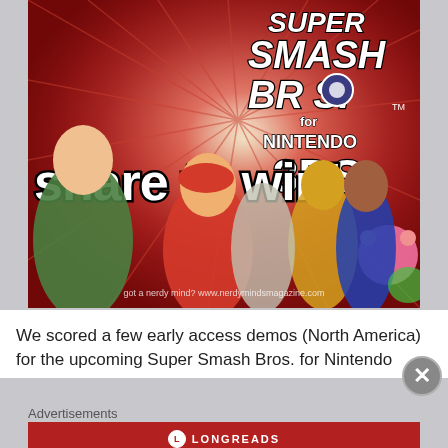[Figure (photo): Super Smash Bros. for Nintendo 3DS promotional image with 'share to win!' text overlay and game characters including Link, Mario, Kirby, Samus, Marth and others. Watermark reads: got a nerdy mind? www.nerdymindsmagazine.com]
We scored a few early access demos (North America) for the upcoming Super Smash Bros. for Nintendo
Advertisements
[Figure (infographic): Longreads advertisement: The best stories on the web — ours, and everyone else's.]